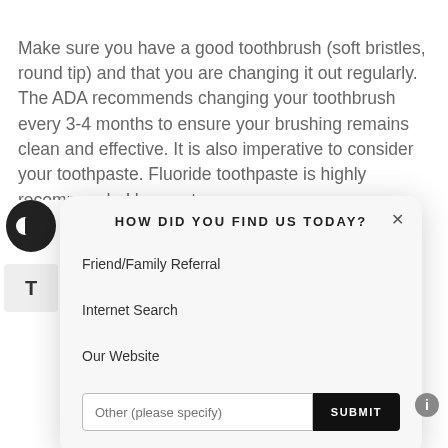Make sure you have a good toothbrush (soft bristles, round tip) and that you are changing it out regularly. The ADA recommends changing your toothbrush every 3-4 months to ensure your brushing remains clean and effective. It is also imperative to consider your toothpaste. Fluoride toothpaste is highly recommended by most
[Figure (screenshot): A modal dialog box with rounded corners on a light gray background. Title reads 'HOW DID YOU FIND US TODAY?' with a close X button. Options listed: Friend/Family Referral, Internet Search, Our Website. At the bottom is a text input field placeholder 'Other (please specify)' and a black SUBMIT button.]